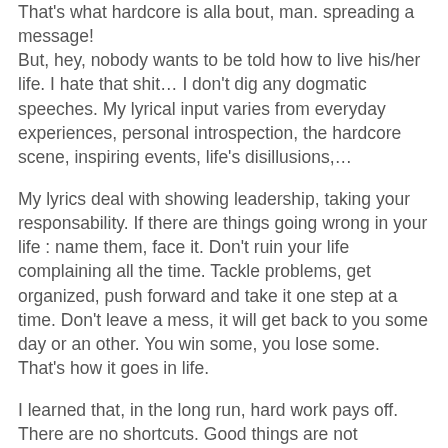That's what hardcore is alla bout, man. spreading a message! But, hey, nobody wants to be told how to live his/her life. I hate that shit… I don't dig any dogmatic speeches. My lyrical input varies from everyday experiences, personal introspection, the hardcore scene, inspiring events, life's disillusions,…
My lyrics deal with showing leadership, taking your responsability. If there are things going wrong in your life : name them, face it. Don't ruin your life complaining all the time. Tackle problems, get organized, push forward and take it one step at a time. Don't leave a mess, it will get back to you some day or an other. You win some, you lose some. That's how it goes in life.
I learned that, in the long run, hard work pays off. There are no shortcuts. Good things are not supposed to come easy. I believe that, in order to achieve something in life, you basically have to go through some stages first. Some kind of an inner process if you want. Then you'll get the reward.
Because there are those that...